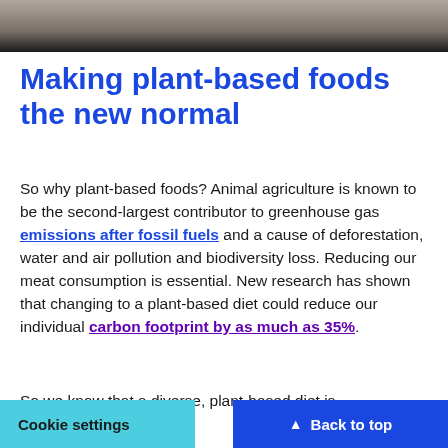[Figure (photo): Partial photo strip at top of page showing a blurred neutral background, fading to dark at bottom]
Making plant-based foods the new normal
So why plant-based foods? Animal agriculture is known to be the second-largest contributor to greenhouse gas emissions after fossil fuels and a cause of deforestation, water and air pollution and biodiversity loss. Reducing our meat consumption is essential. New research has shown that changing to a plant-based diet could reduce our individual carbon footprint by as much as 35%.
So we know that a diverse, plant-based diet is good for our health and the health of people to make the
Cookie settings
▲ Back to top